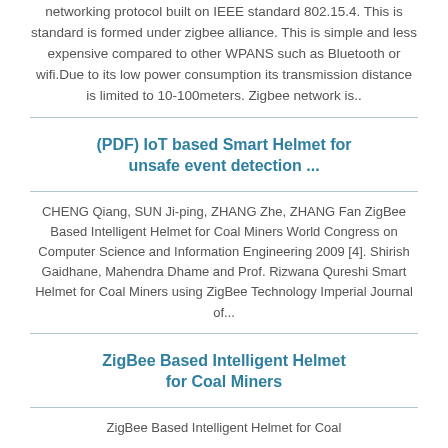networking protocol built on IEEE standard 802.15.4. This is standard is formed under zigbee alliance. This is simple and less expensive compared to other WPANS such as Bluetooth or wifi.Due to its low power consumption its transmission distance is limited to 10-100meters. Zigbee network is..
(PDF) IoT based Smart Helmet for unsafe event detection ...
CHENG Qiang, SUN Ji-ping, ZHANG Zhe, ZHANG Fan ZigBee Based Intelligent Helmet for Coal Miners World Congress on Computer Science and Information Engineering 2009 [4]. Shirish Gaidhane, Mahendra Dhame and Prof. Rizwana Qureshi Smart Helmet for Coal Miners using ZigBee Technology Imperial Journal of...
ZigBee Based Intelligent Helmet for Coal Miners
ZigBee Based Intelligent Helmet for Coal